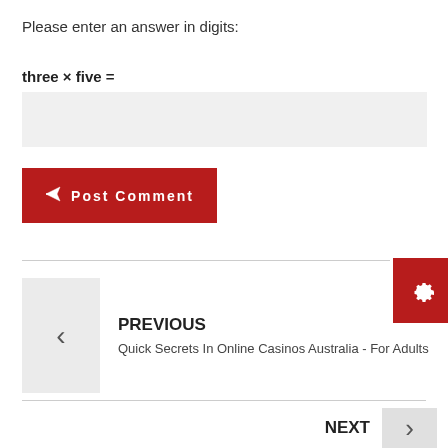Please enter an answer in digits:
three × five =
Post Comment
PREVIOUS
Quick Secrets In Online Casinos Australia - For Adults
NEXT